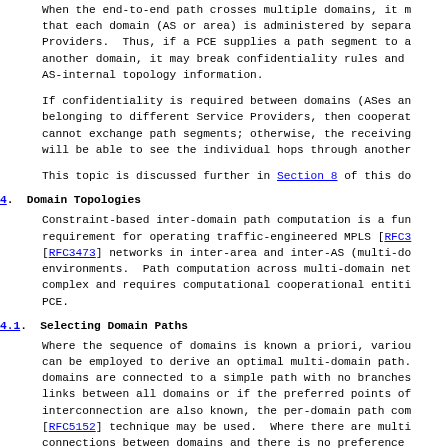When the end-to-end path crosses multiple domains, it may be that each domain (AS or area) is administered by separate Service Providers. Thus, if a PCE supplies a path segment to a PCE in another domain, it may break confidentiality rules and reveal AS-internal topology information.
If confidentiality is required between domains (ASes and areas) belonging to different Service Providers, then cooperating PCEs cannot exchange path segments; otherwise, the receiving PCE will be able to see the individual hops through another domain.
This topic is discussed further in Section 8 of this document.
4.  Domain Topologies
Constraint-based inter-domain path computation is a fundamental requirement for operating traffic-engineered MPLS [RFC3209] [RFC3473] networks in inter-area and inter-AS (multi-domain) environments. Path computation across multi-domain networks is complex and requires computational cooperative entities such as a PCE.
4.1.  Selecting Domain Paths
Where the sequence of domains is known a priori, various techniques can be employed to derive an optimal multi-domain path. Where the domains are connected to a simple path with no branches, and where links between all domains or if the preferred points of inter-domain interconnection are also known, the per-domain path computation [RFC5152] technique may be used. Where there are multiple connections between domains and there is no preference...